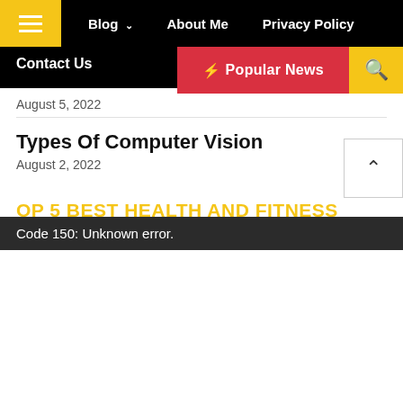Blog  About Me  Privacy Policy  Contact Us
[Figure (screenshot): Popular News red button with lightning bolt and yellow search icon button]
August 5, 2022
Types Of Computer Vision
August 2, 2022
OP 5 BEST HEALTH AND FITNESS GADGETS 2019
Code 150: Unknown error.